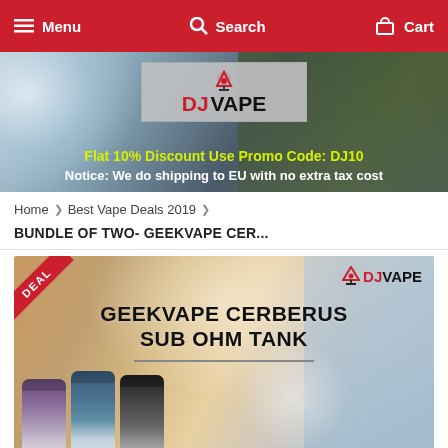Menu  Search  Cart
[Figure (illustration): DJVape website banner with logo, promo code text 'Flat 10% Discount Use Promo Code: DJ10' and notice 'Notice: We do shipping to EU with no extra tax cost']
Home > Best Vape Deals 2019 >
BUNDLE OF TWO- GEEKVAPE CER...
[Figure (photo): Geekvape Cerberus Sub Ohm Tank product promotional image with DEAL badge, DJVape logo, product name text, divider line, and three tank products at bottom]